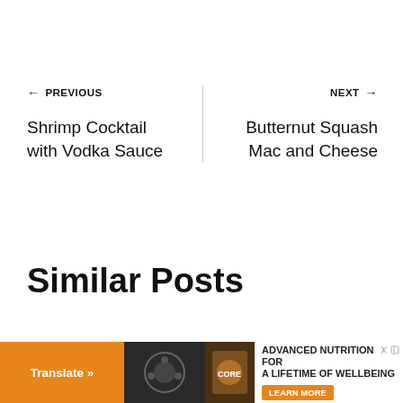← PREVIOUS
Shrimp Cocktail with Vodka Sauce
NEXT →
Butternut Squash Mac and Cheese
Similar Posts
[Figure (other): Advertisement banner with Translate button, product images, and text 'ADVANCED NUTRITION FOR A LIFETIME OF WELLBEING' with LEARN MORE button]